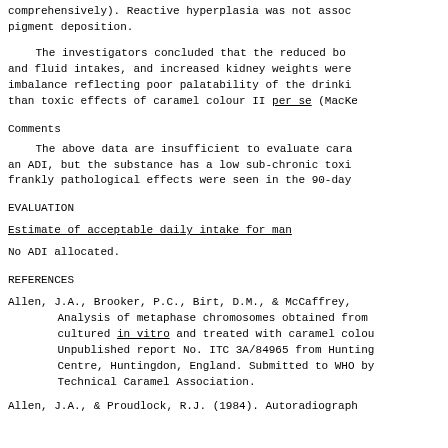comprehensively). Reactive hyperplasia was not associated with pigment deposition.
The investigators concluded that the reduced body and fluid intakes, and increased kidney weights were an imbalance reflecting poor palatability of the drinking water than toxic effects of caramel colour II per se (MacKe...
Comments
The above data are insufficient to evaluate caramel for an ADI, but the substance has a low sub-chronic toxicity; no frankly pathological effects were seen in the 90-day...
EVALUATION
Estimate of acceptable daily intake for man
No ADI allocated.
REFERENCES
Allen, J.A., Brooker, P.C., Birt, D.M., & McCaffrey, ... Analysis of metaphase chromosomes obtained from cultured in vitro and treated with caramel colour. Unpublished report No. ITC 3A/84965 from Huntingdon Centre, Huntingdon, England. Submitted to WHO by Technical Caramel Association.
Allen, J.A., & Proudlock, R.J. (1984). Autoradiograph...